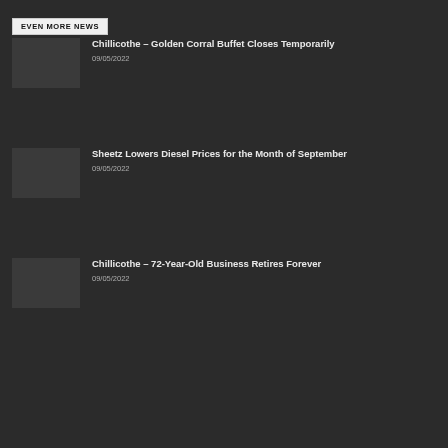EVEN MORE NEWS
Chillicothe – Golden Corral Buffet Closes Temporarily
09/05/2022
Sheetz Lowers Diesel Prices for the Month of September
09/05/2022
Chillicothe – 72-Year-Old Business Retires Forever
09/05/2022